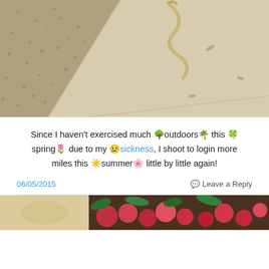[Figure (photo): Outdoor photo showing a snake on a concrete/paved surface next to gravel or small stones, viewed from above. Beige and tan tones.]
Since I haven't exercised much 🌳outdoors🌴 this 🍀 spring🌷 due to my 😢sickness, I shoot to login more miles this ☀️summer🌸 little by little again!
06/05/2015
💬 Leave a Reply
[Figure (photo): Bottom partial photos: left shows sandy/light background, right shows colorful produce including red/pink items and green leaves.]